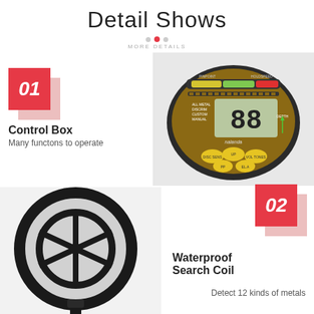Detail Shows
MORE DETAILS
[Figure (photo): Close-up photo of metal detector control box with LCD display showing '88', yellow/green segmented arc indicator, multiple yellow buttons, and 'nalanda' branding on brown/gold casing]
01
Control Box
Many functons to operate
[Figure (photo): Close-up photo of black circular waterproof search coil with spoked design on white/light background]
02
Waterproof Search Coil
Detect 12 kinds of metals